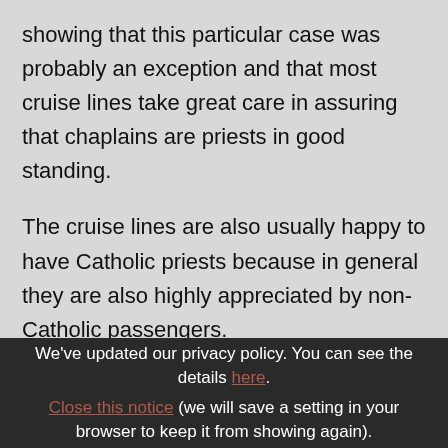showing that this particular case was probably an exception and that most cruise lines take great care in assuring that chaplains are priests in good standing.
The cruise lines are also usually happy to have Catholic priests because in general they are also highly appreciated by non-Catholic passengers.
Several correspondents from Australia and the
We've updated our privacy policy. You can see the details here. Close this notice (we will save a setting in your browser to keep it from showing again).